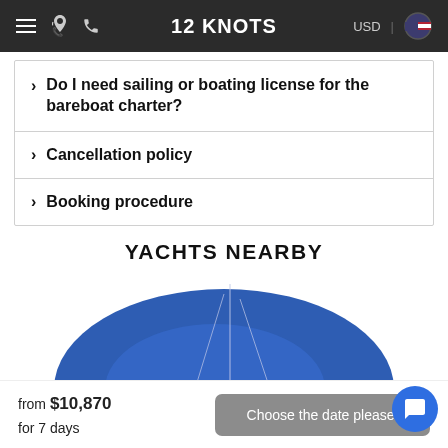12 KNOTS
Do I need sailing or boating license for the bareboat charter?
Cancellation policy
Booking procedure
YACHTS NEARBY
[Figure (illustration): Partial view of a yacht with blue hull visible at the bottom of the page]
from $10,870 for 7 days
Choose the date please!